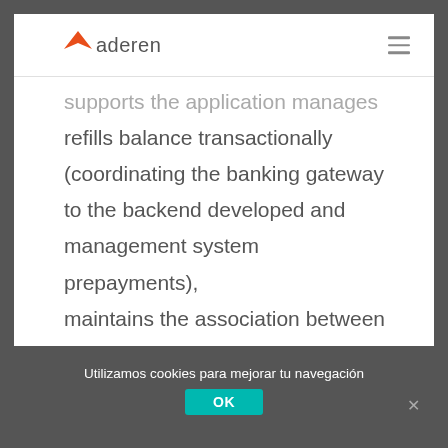aderen
supports the application manages refills balance transactionally (coordinating the banking gateway to the backend developed and management system prepayments), maintains the association between user and bracelet and limits the full use of the application for users whose account is managed by another.
Utilizamos cookies para mejorar tu navegación
OK